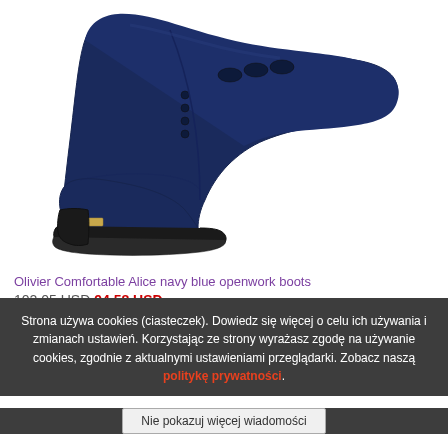[Figure (photo): Navy blue suede ankle boot (Olivier Comfortable Alice) shown in side profile on white background. Boot features openwork cutout detail at toe, black rubber sole, and gold brand plate on heel.]
Olivier Comfortable Alice navy blue openwork boots
102,05 USD  94,58 USD
Available in many sizes
Strona używa cookies (ciasteczek). Dowiedz się więcej o celu ich używania i zmianach ustawień. Korzystając ze strony wyrażasz zgodę na używanie cookies, zgodnie z aktualnymi ustawieniami przeglądarki. Zobacz naszą politykę prywatności.
Nie pokazuj więcej wiadomości